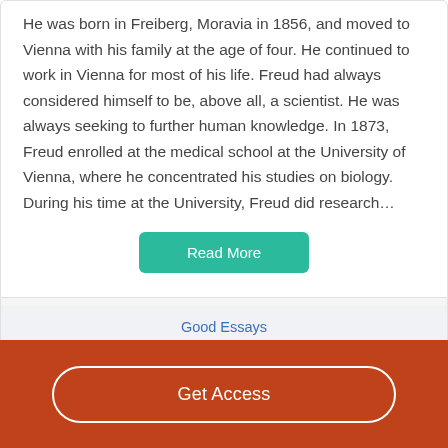He was born in Freiberg, Moravia in 1856, and moved to Vienna with his family at the age of four. He continued to work in Vienna for most of his life. Freud had always considered himself to be, above all, a scientist. He was always seeking to further human knowledge. In 1873, Freud enrolled at the medical school at the University of Vienna, where he concentrated his studies on biology. During his time at the University, Freud did research…
Read More
Good Essays
Anna Freud  Bio Essay
Get Access